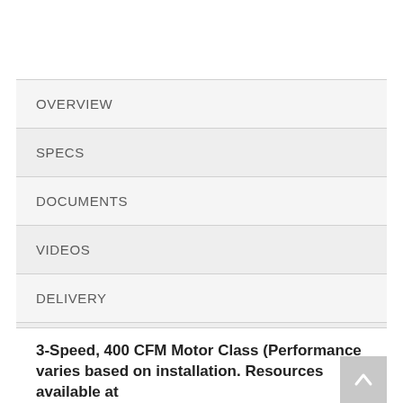OVERVIEW
SPECS
DOCUMENTS
VIDEOS
DELIVERY
WARRANTY
3-Speed, 400 CFM Motor Class (Performance varies based on installation. Resources available at